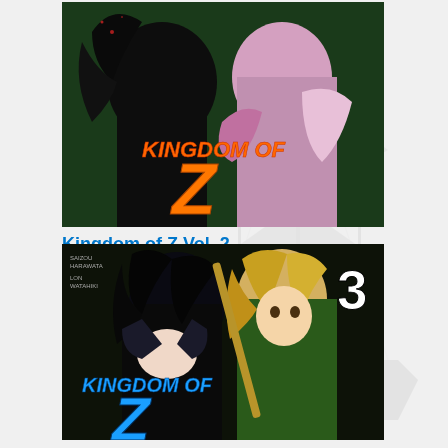[Figure (illustration): Manga cover art for Kingdom of Z Vol. 2 showing anime characters with orange 'KINGDOM OF Z' title text on dark background]
Kingdom of Z Vol. 2
Release Date: 2020/10/13
Price: $12.99
Format: Manga
ISBN: 978-1-64505-759-8
[Figure (illustration): Manga cover art for Kingdom of Z Vol. 3 showing two anime girls, one with black hair and one with blonde hair, with blue 'KINGDOM OF Z' title text]
Kingdom of Z Vol. 3
Release Date: 2021/03/23
Price: $12.99
Format: Manga